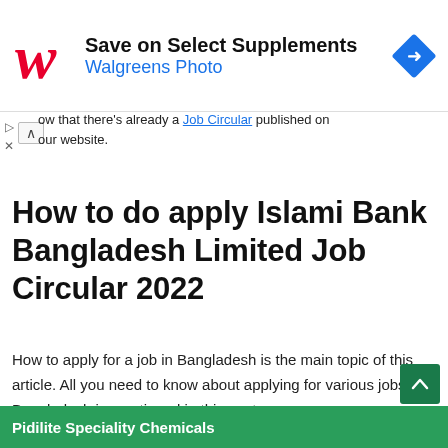[Figure (other): Walgreens advertisement banner with red cursive W logo, text 'Save on Select Supplements' and 'Walgreens Photo' in blue, and a blue diamond navigation icon on the right]
...ow that there's already a Job Circular published on our website.
How to do apply Islami Bank Bangladesh Limited Job Circular 2022
How to apply for a job in Bangladesh is the main topic of this article. All you need to know about applying for various jobs in Bangladesh is mentioned in this post.
[Figure (other): Green advertisement banner for Pidilite Speciality Chemicals at the bottom of the page]